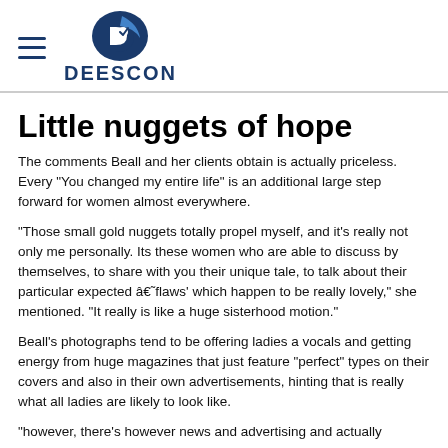DEESCON
Little nuggets of hope
The comments Beall and her clients obtain is actually priceless. Every "You changed my entire life" is an additional large step forward for women almost everywhere.
"Those small gold nuggets totally propel myself, and it's really not only me personally. Its these women who are able to discuss by themselves, to share with you their unique tale, to talk about their particular expected âflaws' which happen to be really lovely," she mentioned. "It really is like a huge sisterhood motion."
Beall's photographs tend to be offering ladies a vocals and getting energy from huge magazines that just feature "perfect" types on their covers and also in their own advertisements, hinting that is really what all ladies are likely to look like.
"however, there's however news and advertising and actually